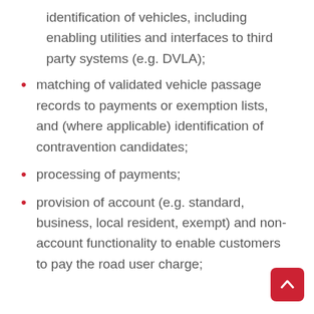identification of vehicles, including enabling utilities and interfaces to third party systems (e.g. DVLA);
matching of validated vehicle passage records to payments or exemption lists, and (where applicable) identification of contravention candidates;
processing of payments;
provision of account (e.g. standard, business, local resident, exempt) and non-account functionality to enable customers to pay the road user charge;